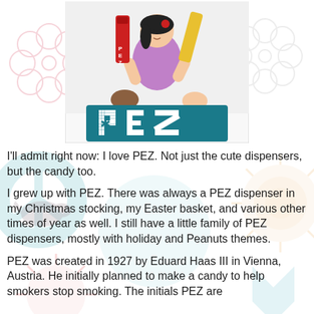[Figure (illustration): PEZ candy advertisement illustration showing a cartoon girl holding PEZ dispensers with the PEZ logo on a teal/dark background banner at the bottom]
I'll admit right now:  I love PEZ.  Not just the cute dispensers, but the candy too.
I grew up with PEZ.  There was always a PEZ dispenser in my Christmas stocking, my Easter basket, and various other times of year as well.  I still have a little family of PEZ dispensers, mostly with holiday and Peanuts themes.
PEZ was created in 1927 by Eduard Haas III in Vienna, Austria.  He initially planned to make a candy to help smokers stop smoking.  The initials PEZ are short for the German word for peppermint.